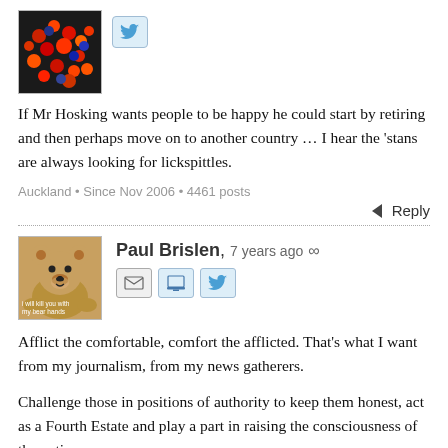[Figure (photo): Avatar photo showing colorful berries/beads in dark background, with a Twitter bird icon button to the right]
If Mr Hosking wants people to be happy he could start by retiring and then perhaps move on to another country … I hear the 'stans are always looking for lickspittles.
Auckland • Since Nov 2006 • 4461 posts
Reply
[Figure (photo): Avatar photo of a teddy bear hand puppet with text 'i will kill you with my bear hands', next to Paul Brislen author name with email, website, and Twitter icons]
Paul Brislen, 7 years ago ∞
Afflict the comfortable, comfort the afflicted. That's what I want from my journalism, from my news gatherers.
Challenge those in positions of authority to keep them honest, act as a Fourth Estate and play a part in raising the consciousness of the nation.
I remember not understanding words on TV and going to look them up. TV wasn't dumbed down to